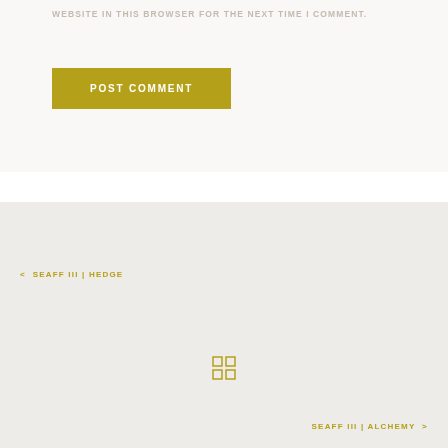WEBSITE IN THIS BROWSER FOR THE NEXT TIME I COMMENT.
POST COMMENT
< SEAFF III | HEDGE
[Figure (other): 2x2 grid/home icon in gold]
SEAFF III | ALCHEMY >